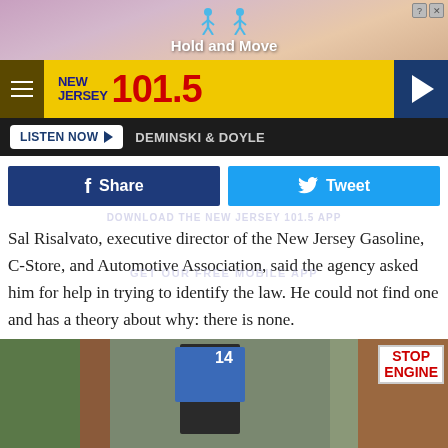[Figure (screenshot): Advertisement banner showing 'Hold and Move' with animated figures on a peach/pink gradient background]
[Figure (screenshot): New Jersey 101.5 radio station header bar with hamburger menu, yellow logo area, and dark blue play button]
[Figure (screenshot): Listen Now button bar with 'LISTEN NOW' button and 'DEMINSKI & DOYLE' text]
[Figure (screenshot): Social share buttons: Facebook Share and Twitter Tweet]
Sal Risalvato, executive director of the New Jersey Gasoline, C-Store, and Automotive Association, said the agency asked him for help in trying to identify the law. He could not find one and has a theory about why: there is none.
[Figure (photo): Photo of a gas station pump area with brick walls, pump number 14 visible, and a STOP ENGINE sign]
[Figure (screenshot): Second 'Hold and Move' advertisement banner at bottom of page]